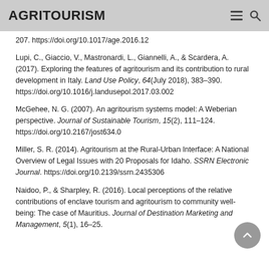AGRITOURISM
207. https://doi.org/10.1017/age.2016.12
Lupi, C., Giaccio, V., Mastronardi, L., Giannelli, A., & Scardera, A. (2017). Exploring the features of agritourism and its contribution to rural development in Italy. Land Use Policy, 64(July 2018), 383–390. https://doi.org/10.1016/j.landusepol.2017.03.002
McGehee, N. G. (2007). An agritourism systems model: A Weberian perspective. Journal of Sustainable Tourism, 15(2), 111–124. https://doi.org/10.2167/jost634.0
Miller, S. R. (2014). Agritourism at the Rural-Urban Interface: A National Overview of Legal Issues with 20 Proposals for Idaho. SSRN Electronic Journal. https://doi.org/10.2139/ssrn.2435306
Naidoo, P., & Sharpley, R. (2016). Local perceptions of the relative contributions of enclave tourism and agritourism to community well-being: The case of Mauritius. Journal of Destination Marketing and Management, 5(1), 16–25.